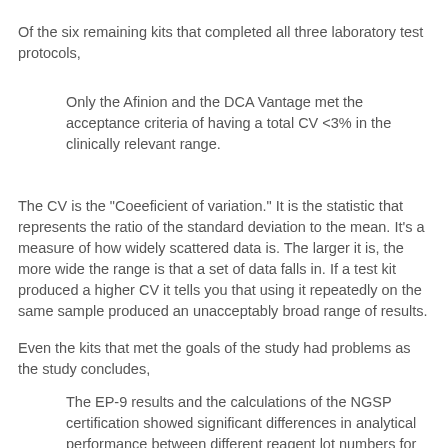Of the six remaining kits that completed all three laboratory test protocols,
Only the Afinion and the DCA Vantage met the acceptance criteria of having a total CV <3% in the clinically relevant range.
The CV is the "Coeeficient of variation." It is the statistic that represents the ratio of the standard deviation to the mean. It's a measure of how widely scattered data is. The larger it is, the more wide the range is that a set of data falls in. If a test kit produced a higher CV it tells you that using it repeatedly on the same sample produced an unacceptably broad range of results.
Even the kits that met the goals of the study had problems as the study concludes,
The EP-9 results and the calculations of the NGSP certification showed significant differences in analytical performance between different reagent lot numbers for all Hb A1c POC [point of